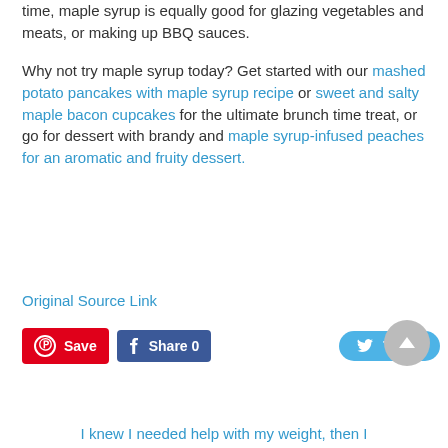time, maple syrup is equally good for glazing vegetables and meats, or making up BBQ sauces.
Why not try maple syrup today? Get started with our mashed potato pancakes with maple syrup recipe or sweet and salty maple bacon cupcakes for the ultimate brunch time treat, or go for dessert with brandy and maple syrup-infused peaches for an aromatic and fruity dessert.
Original Source Link
[Figure (other): Social sharing buttons: Pinterest Save, Facebook Share 0, Twitter Tweet]
[Figure (other): Scroll-to-top circular button with upward arrow]
I knew I needed help with my weight, then I